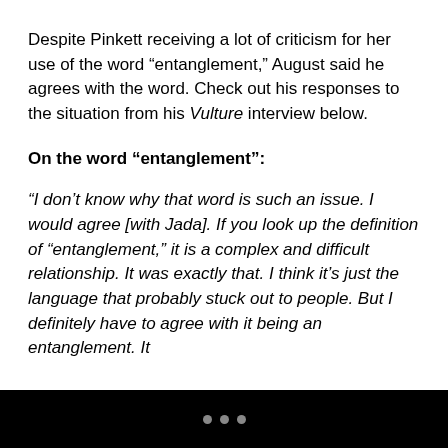Despite Pinkett receiving a lot of criticism for her use of the word “entanglement,” August said he agrees with the word. Check out his responses to the situation from his Vulture interview below.
On the word “entanglement”:
“I don’t know why that word is such an issue. I would agree [with Jada]. If you look up the definition of “entanglement,” it is a complex and difficult relationship. It was exactly that. I think it’s just the language that probably stuck out to people. But I definitely have to agree with it being an entanglement. It
• • •